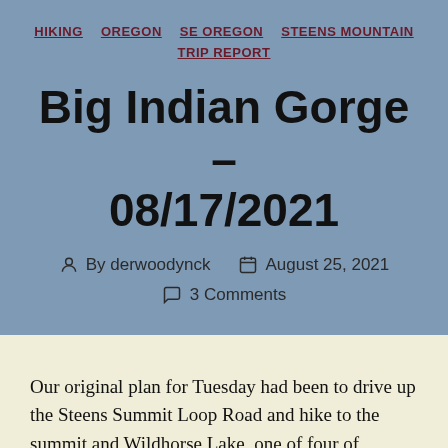HIKING  OREGON  SE OREGON  STEENS MOUNTAIN  TRIP REPORT
Big Indian Gorge – 08/17/2021
By derwoodynck   August 25, 2021   3 Comments
Our original plan for Tuesday had been to drive up the Steens Summit Loop Road and hike to the summit and Wildhorse Lake, one of four of Sullivan's featured hikes (post) we were hoping to check off during the trip. With the amount of smoke in the air Monday night though we